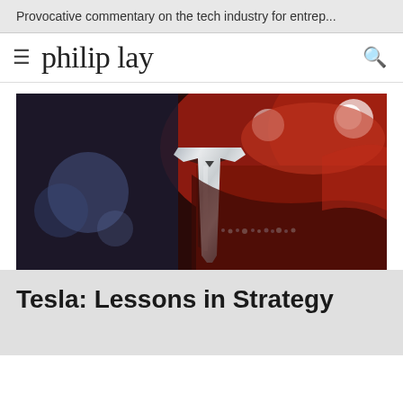Provocative commentary on the tech industry for entrep...
philip lay
[Figure (photo): Close-up photograph of a Tesla logo badge (chrome T emblem) on a dark red car body, shallow depth of field with bokeh blur in background]
Tesla: Lessons in Strategy